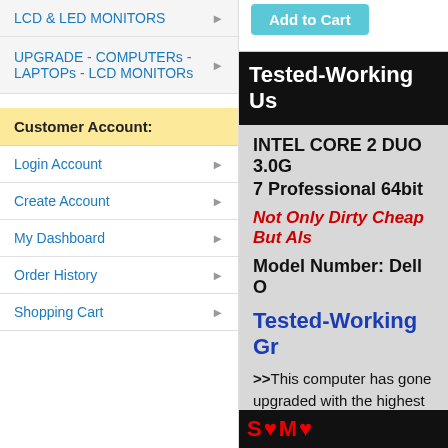LCD & LED MONITORS
UPGRADE - COMPUTERs - LAPTOPs - LCD MONITORs
Customer Account:
Login Account
Create Account
My Dashboard
Order History
Shopping Cart
Add to Cart
Tested-Working Us
INTEL CORE 2 DUO 3.0G
7 Professional 64bit
Not Only Dirty Cheap But Als
Model Number: Dell O
Tested-Working Gr
>>This computer has gone upgraded with the highest